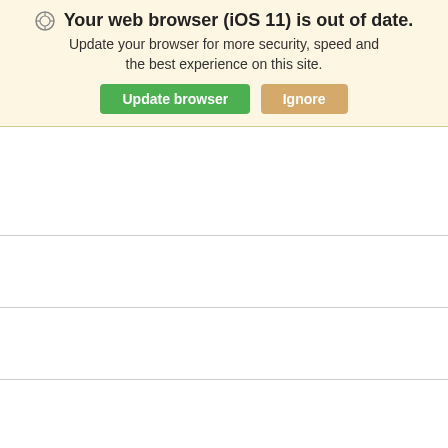[Figure (screenshot): Browser update notification banner: 'Your web browser (iOS 11) is out of date. Update your browser for more security, speed and the best experience on this site.' with green 'Update browser' button and tan 'Ignore' button.]
RDD0824S15 (XP POWER)
PDQE10-Q24-S15 D (CUIDEV)
JWE0624D15 (XP POWER)